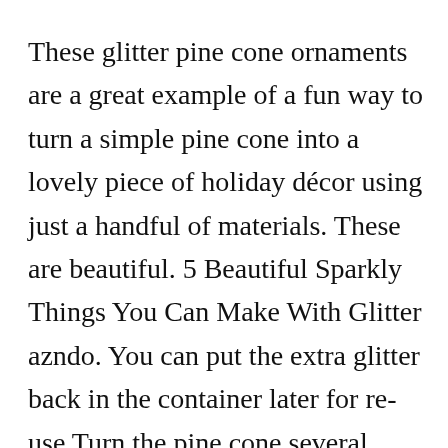These glitter pine cone ornaments are a great example of a fun way to turn a simple pine cone into a lovely piece of holiday décor using just a handful of materials. These are beautiful. 5 Beautiful Sparkly Things You Can Make With Glitter azndo. You can put the extra glitter back in the container later for re-use Turn the pine cone several times to make sure the glitter covers the entire surface. Will have to make some.